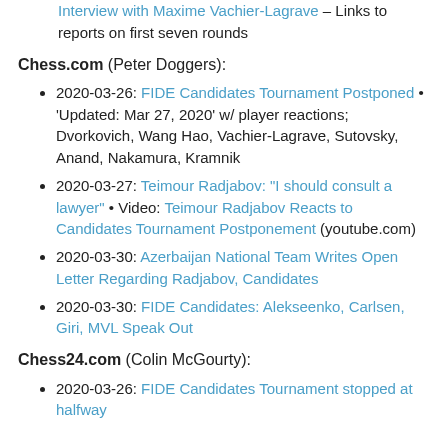Interview with Maxime Vachier-Lagrave – Links to reports on first seven rounds
Chess.com (Peter Doggers):
2020-03-26: FIDE Candidates Tournament Postponed • 'Updated: Mar 27, 2020' w/ player reactions; Dvorkovich, Wang Hao, Vachier-Lagrave, Sutovsky, Anand, Nakamura, Kramnik
2020-03-27: Teimour Radjabov: "I should consult a lawyer" • Video: Teimour Radjabov Reacts to Candidates Tournament Postponement (youtube.com)
2020-03-30: Azerbaijan National Team Writes Open Letter Regarding Radjabov, Candidates
2020-03-30: FIDE Candidates: Alekseenko, Carlsen, Giri, MVL Speak Out
Chess24.com (Colin McGourty):
2020-03-26: FIDE Candidates Tournament stopped at halfway